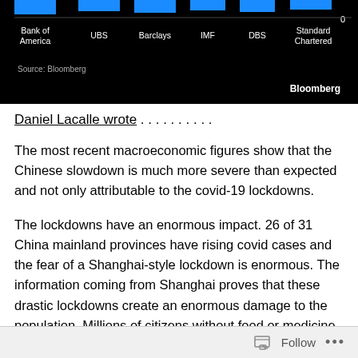[Figure (bar-chart): Partial bar chart on black background showing forecast values for Bank of America, UBS, Barclays, IMF, DBS, Standard Chartered. Source: Bloomberg]
Daniel Lacalle wrote . . . . . . . . . .
The most recent macroeconomic figures show that the Chinese slowdown is much more severe than expected and not only attributable to the covid-19 lockdowns.
The lockdowns have an enormous impact. 26 of 31 China mainland provinces have rising covid cases and the fear of a Shanghai-style lockdown is enormous. The information coming from Shanghai proves that these drastic lockdowns create an enormous damage to the population. Millions of citizens without food or medicine and rising
Follow ...